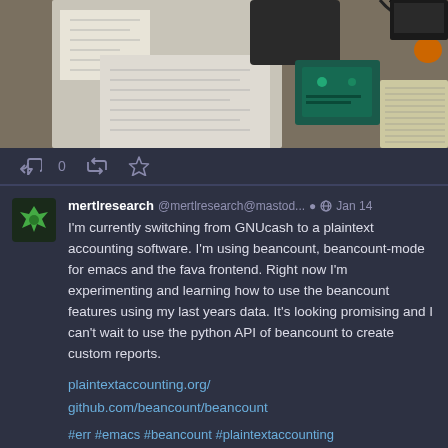[Figure (photo): Photo of a desk/workbench with engineering schematics/papers and circuit boards and electronic equipment]
0
mertlresearch @mertlresearch@mastod... Jan 14
I'm currently switching from GNUcash to a plaintext accounting software. I'm using beancount, beancount-mode for emacs and the fava frontend. Right now I'm experimenting and learning how to use the beancount features using my last years data. It's looking promising and I can't wait to use the python API of beancount to create custom reports.

plaintextaccounting.org/
github.com/beancount/beancount

#err #emacs #beancount #plaintextaccounting